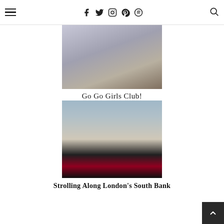Navigation header with hamburger menu and social icons: Facebook, Twitter, Instagram, Pinterest, Spotify, Search
[Figure (photo): Fashion photo of a person standing on a cobblestone square in front of a brick building, wearing a long dark coat and striped wide-leg trousers with sneakers.]
Go Go Girls Club!
[Figure (photo): Fashion photo of a woman with red hair standing on a sandy riverside area with the London skyline in the background, wearing a black and red patterned dress and carrying a bag.]
Strolling Along London's South Bank